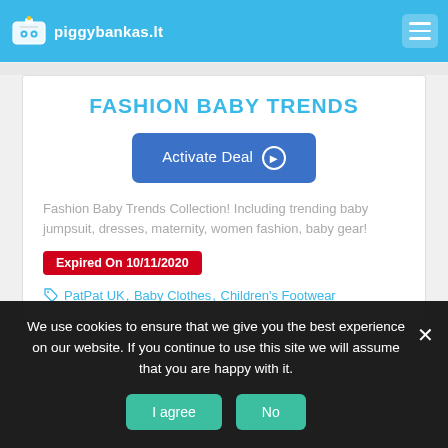piggybankas.lt
FASHION BABY TRENDS
Activate Deal →
Fashion Baby Trends Collection! Including trending baby jumpsuit, dresses, maternity, women fashion, baby gear!
Expired On 10/11/2020
PatPat UK, Baby Clothes, Children's Footwear
We use cookies to ensure that we give you the best experience on our website. If you continue to use this site we will assume that you are happy with it.